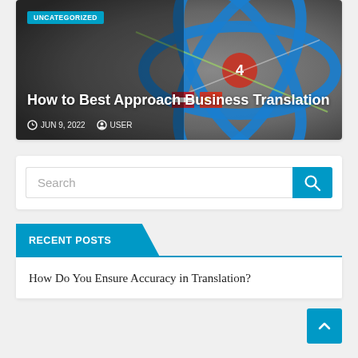[Figure (screenshot): Hero image with orbital/atom graphic with international flags, overlaid with article metadata]
UNCATEGORIZED
How to Best Approach Business Translation
JUN 9, 2022  USER
Search
RECENT POSTS
How Do You Ensure Accuracy in Translation?